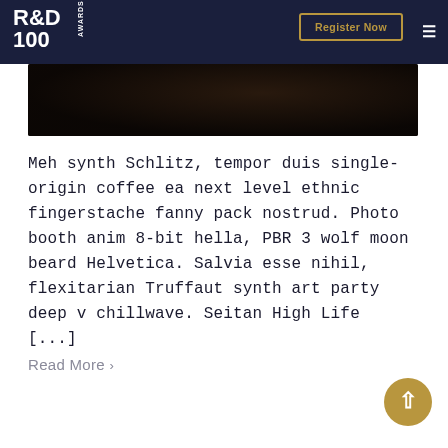R&D 100 Awards — Register Now
[Figure (photo): Dark atmospheric hero banner image, appears to show a dark landscape or night sky scene]
Meh synth Schlitz, tempor duis single-origin coffee ea next level ethnic fingerstache fanny pack nostrud. Photo booth anim 8-bit hella, PBR 3 wolf moon beard Helvetica. Salvia esse nihil, flexitarian Truffaut synth art party deep v chillwave. Seitan High Life [...]
Read More >